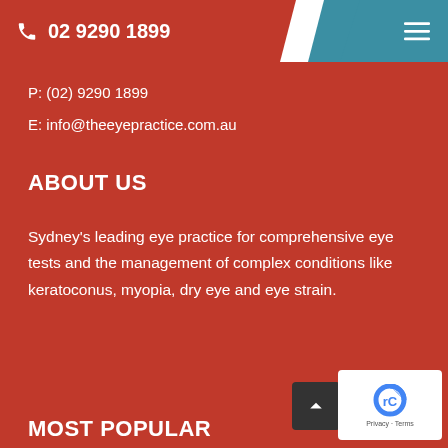02 9290 1899
P: (02) 9290 1899
E: info@theeyepractice.com.au
ABOUT US
Sydney's leading eye practice for comprehensive eye tests and the management of complex conditions like keratoconus, myopia, dry eye and eye strain.
MOST POPULAR